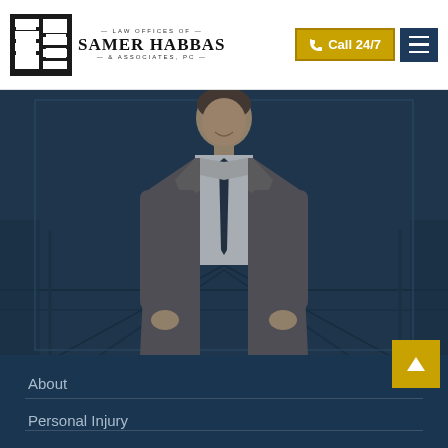[Figure (logo): Law Offices of Samer Habbas & Associates PC logo with black square geometric mark on the left and firm name text on the right]
Call 24/7
[Figure (photo): Photograph of a man in a grey suit and dark tie standing in front of an industrial/warehouse background with blue overlay tint]
[Figure (other): Yellow scroll-to-top button with upward arrow icon]
About
Personal Injury